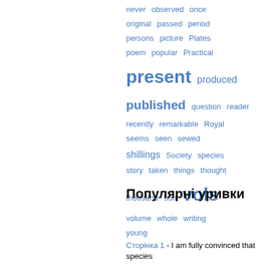[Figure (other): Tag cloud of words including: never, observed, once, original, passed, period, persons, picture, Plates, poem, popular, Practical, present, produced, published, question, reader, recently, remarkable, Royal, seems, seen, sewed, shillings, Society, species, story, taken, things, thought, thousand, tion, vols, volume, whole, writing, young]
Популярні уривки
Сторінка 1 - I am fully convinced that species